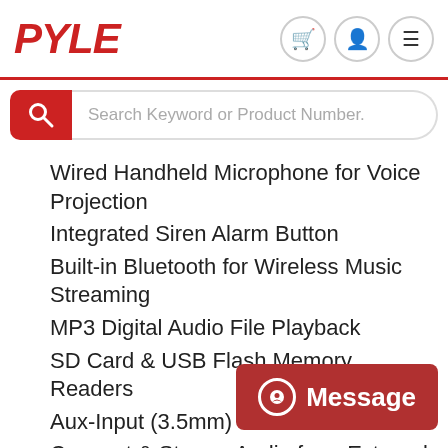[Figure (logo): PYLE brand logo in red italic bold text]
Search Keyword or Product Number.
Wired Handheld Microphone for Voice Projection
Integrated Siren Alarm Button
Built-in Bluetooth for Wireless Music Streaming
MP3 Digital Audio File Playback
SD Card & USB Flash Memory Readers
Aux-Input (3.5mm) Jack
Connect & Stream Audio from External Devices
Adjustable Volume Control
Ergonomic, Light-Weight P
Perfect for Crowd Control & Public